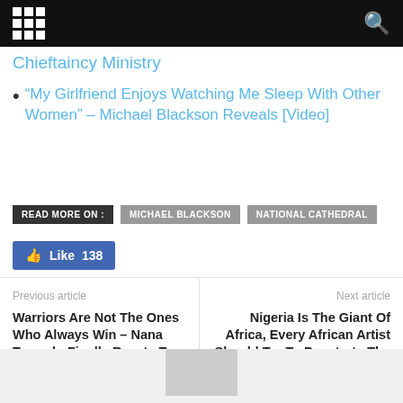Navigation bar with grid menu icon and search icon
Chieftaincy Ministry
“My Girlfriend Enjoys Watching Me Sleep With Other Women” – Michael Blackson Reveals [Video]
READ MORE ON : MICHAEL BLACKSON  NATIONAL CATHEDRAL
Like 138
Previous article
Warriors Are Not The Ones Who Always Win – Nana Tornado Finally Reacts To Afia Schwar’s Nogokpo Video
Next article
Nigeria Is The Giant Of Africa, Every African Artist Should Try To Penetrate The Naija Market – Camidoh
[Figure (illustration): Grey avatar/profile placeholder image at bottom center]